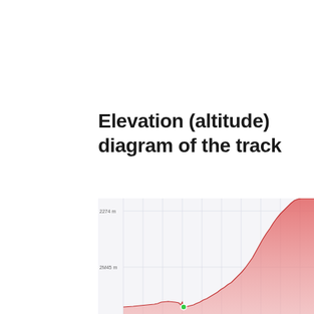Elevation (altitude) diagram of the track
[Figure (area-chart): Elevation area chart showing altitude profile of a track. Y-axis shows altitude in meters with labels 2274m (top) and 2M45m visible. The chart shows a mostly flat/low elevation on the left side gradually rising steeply toward the right, with a red/pink shaded area fill. The chart is partially cut off at the bottom of the page.]